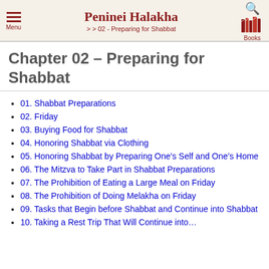Peninei Halakha >> 02 - Preparing for Shabbat | Menu | Books
Chapter 02 – Preparing for Shabbat
01. Shabbat Preparations
02. Friday
03. Buying Food for Shabbat
04. Honoring Shabbat via Clothing
05. Honoring Shabbat by Preparing One's Self and One's Home
06. The Mitzva to Take Part in Shabbat Preparations
07. The Prohibition of Eating a Large Meal on Friday
08. The Prohibition of Doing Melakha on Friday
09. Tasks that Begin before Shabbat and Continue into Shabbat
10. Taking a Rest Trip That Will Continue into…